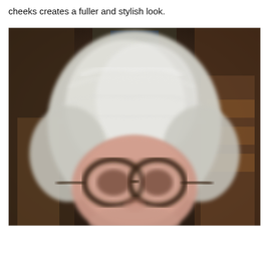cheeks creates a fuller and stylish look.
[Figure (photo): Close-up photo of an older woman with short, textured silver/white hair styled in a layered cut. She is wearing dark-framed glasses. The background is blurred showing dark and brown tones. The image is slightly blurry/out of focus.]